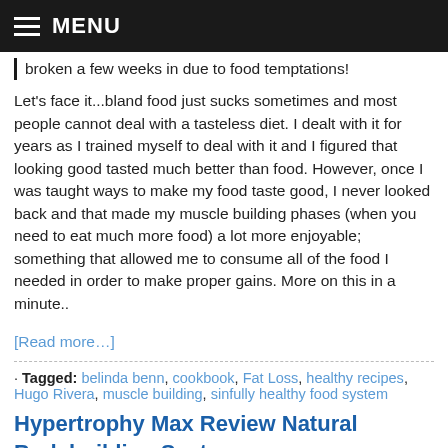MENU
broken a few weeks in due to food temptations!
Let's face it...bland food just sucks sometimes and most people cannot deal with a tasteless diet. I dealt with it for years as I trained myself to deal with it and I figured that looking good tasted much better than food. However, once I was taught ways to make my food taste good, I never looked back and that made my muscle building phases (when you need to eat much more food) a lot more enjoyable; something that allowed me to consume all of the food I needed in order to make proper gains. More on this in a minute..
[Read more…]
· Tagged: belinda benn, cookbook, Fat Loss, healthy recipes, Hugo Rivera, muscle building, sinfully healthy food system
Hypertrophy Max Review Natural Bodybuilding System